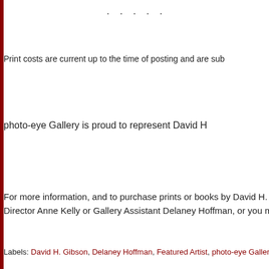. . . . .
Print costs are current up to the time of posting and are sub
photo-eye Gallery is proud to represent David H
For more information, and to purchase prints or books by David H. Gi Director Anne Kelly or Gallery Assistant Delaney Hoffman, or you may a
Labels: David H. Gibson, Delaney Hoffman, Featured Artist, photo-eye Gallery
Newer Post  Home
Copyright ph